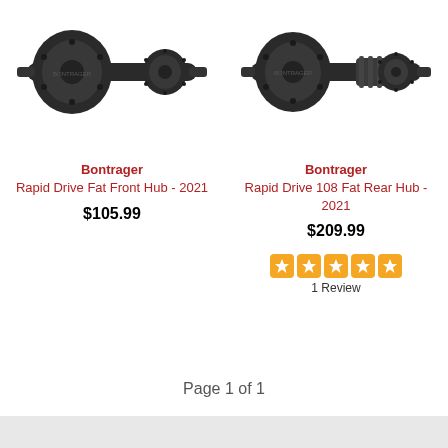[Figure (photo): Bontrager Rapid Drive Fat Front Hub - 2021, dark metallic bicycle hub component, angled view]
[Figure (photo): Bontrager Rapid Drive 108 Fat Rear Hub - 2021, dark metallic bicycle hub component, angled view]
Bontrager
Rapid Drive Fat Front Hub - 2021
Bontrager
Rapid Drive 108 Fat Rear Hub - 2021
$105.99
$209.99
[Figure (other): 5 orange star rating icons]
1 Review
Page 1 of 1